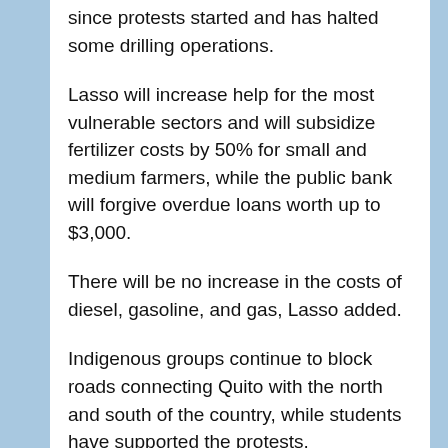since protests started and has halted some drilling operations.
Lasso will increase help for the most vulnerable sectors and will subsidize fertilizer costs by 50% for small and medium farmers, while the public bank will forgive overdue loans worth up to $3,000.
There will be no increase in the costs of diesel, gasoline, and gas, Lasso added.
Indigenous groups continue to block roads connecting Quito with the north and south of the country, while students have supported the protests.
Leonidas Iza, president of Ecuador's CONAIE indigenous organization, said on social media that Lasso's proposals would partially resolve the issues but he doubted they would be implemented.